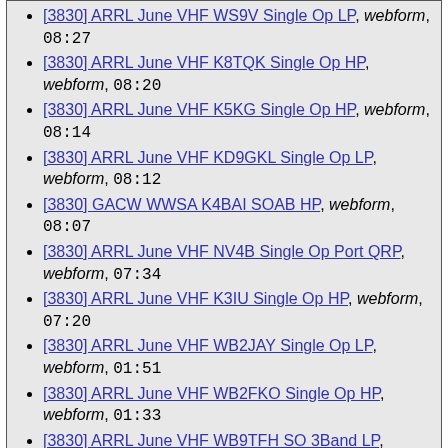[3830] ARRL June VHF WS9V Single Op LP, webform, 08:27
[3830] ARRL June VHF K8TQK Single Op HP, webform, 08:20
[3830] ARRL June VHF K5KG Single Op HP, webform, 08:14
[3830] ARRL June VHF KD9GKL Single Op LP, webform, 08:12
[3830] GACW WWSA K4BAI SOAB HP, webform, 08:07
[3830] ARRL June VHF NV4B Single Op Port QRP, webform, 07:34
[3830] ARRL June VHF K3IU Single Op HP, webform, 07:20
[3830] ARRL June VHF WB2JAY Single Op LP, webform, 01:51
[3830] ARRL June VHF WB2FKO Single Op HP, webform, 01:33
[3830] ARRL June VHF WB9TFH SO 3Band LP, webform, 00:02
June 13, 2016
[3830] ARRL June VHF K7VBG Single Op LP, webform, 23:33
[3830] ARRL June VHF VE3WCC Multi-Op HP